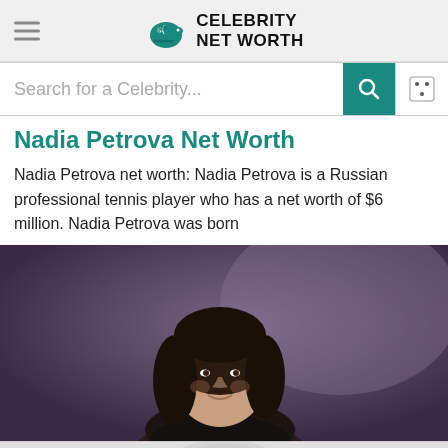Celebrity Net Worth
Search for a Celebrity...
Nadia Petrova Net Worth
Nadia Petrova net worth: Nadia Petrova is a Russian professional tennis player who has a net worth of $6 million. Nadia Petrova was born
[Figure (photo): Photo of Nadia Petrova, a woman with long dark hair, smiling, against a dark purple/grey studio background]